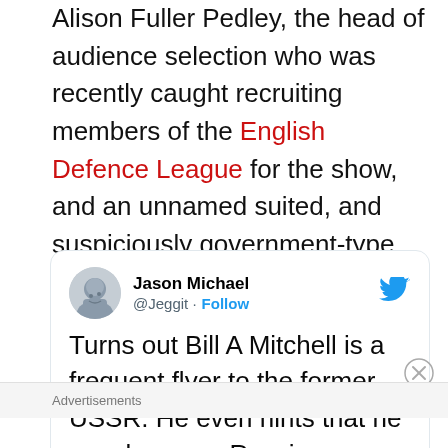Alison Fuller Pedley, the head of audience selection who was recently caught recruiting members of the English Defence League for the show, and an unnamed suited, and suspiciously government-type looking, man. Mitchell is a man with connections.
[Figure (screenshot): Tweet card from @Jeggit (Jason Michael) with Twitter bird logo. Text: 'Turns out Bill A Mitchell is a frequent flyer to the former USSR. He even hints that he speaks some Russian. Interesting']
Advertisements